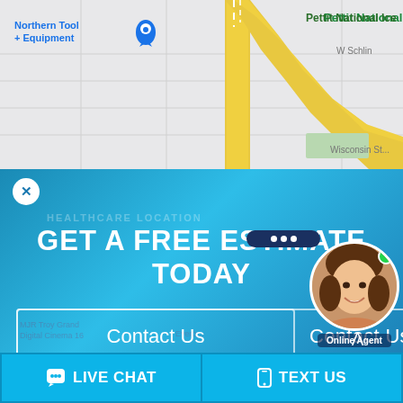[Figure (map): Google Maps screenshot showing street map with yellow highway interchange, 'Northern Tool + Equipment' label on left, 'Pettit National Ice' label on right, 'W Schlin' road label, 'Wisconsin St' road label, and green area patch.]
GET A FREE ESTIMATE TODAY
HEALTHCARE LOCATION
Contact Us
[Figure (photo): Chat widget with dark blue speech bubble showing three dots (typing indicator), circular agent photo of smiling woman with brown hair, green online indicator dot, and 'Online Agent' label.]
Online Agent
LIVE CHAT
TEXT US